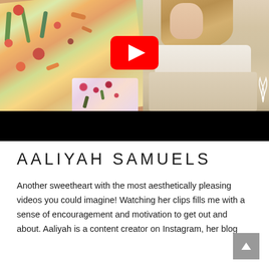[Figure (screenshot): YouTube video thumbnail showing a decorated flatbread/pizza with colorful vegetable toppings arranged artistically on the left side, and a woman in cream/white outfit sitting on the right side, with a YouTube play button overlay in the center. The bottom portion of the video thumbnail shows a black bar.]
AALIYAH SAMUELS
Another sweetheart with the most aesthetically pleasing videos you could imagine! Watching her clips fills me with a sense of encouragement and motivation to get out and about. Aaliyah is a content creator on Instagram, her blog